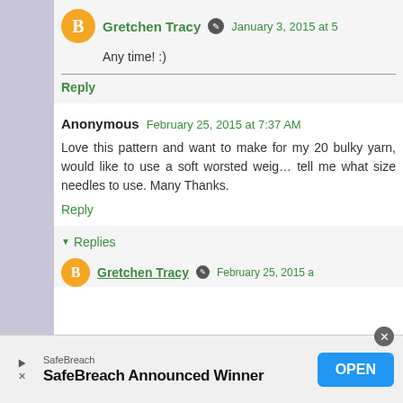Gretchen Tracy · January 3, 2015 at 5...
Any time! :)
Reply
Anonymous February 25, 2015 at 7:37 AM
Love this pattern and want to make for my 20... bulky yarn, would like to use a soft worsted weig... tell me what size needles to use. Many Thanks.
Reply
Replies
Gretchen Tracy · February 25, 2015 a...
[Figure (screenshot): Ad banner: SafeBreach Announced Winner with OPEN button]